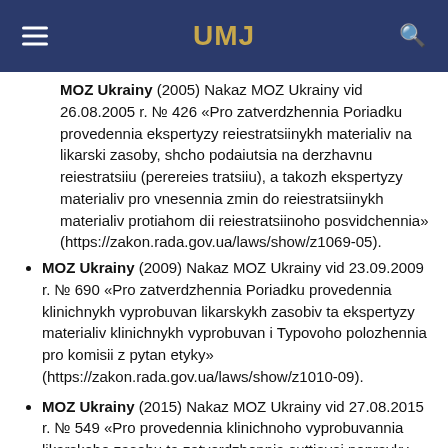UMJ
MOZ Ukrainy (2005) Nakaz MOZ Ukrainy vid 26.08.2005 r. № 426 «Pro zatverdzhennia Poriadku provedennia ekspertyzy reiestratsiinykh materialiv na likarski zasoby, shcho podaiutsia na derzhavnu reiestratsiiu (perereies tratsiiu), a takozh ekspertyzy materialiv pro vnesennia zmin do reiestratsiinykh materialiv protiahom dii reiestra tsiinoho posvidchennia» (https://zakon.rada.gov.ua/laws/show/z1069-05).
MOZ Ukrainy (2009) Nakaz MOZ Ukrainy vid 23.09.2009 r. № 690 «Pro zatverdzhennia Poriadku provedennia klinichnykh vyprobuvan likarskykh zasobiv ta ekspertyzy materialiv klinichnykh vyprobuvan i Typovoho polozhennia pro komisii z pytan etyky» (https://zakon.rada.gov.ua/laws/show/z1010-09).
MOZ Ukrainy (2015) Nakaz MOZ Ukrainy vid 27.08.2015 r. № 549 «Pro provedennia klinichnoho vyprobuvannia likarskoho zasobu ta zatverdzhennia suttievoi popravky» (https://zakon.rada.gov.ua/rada/show/v0549282-15).